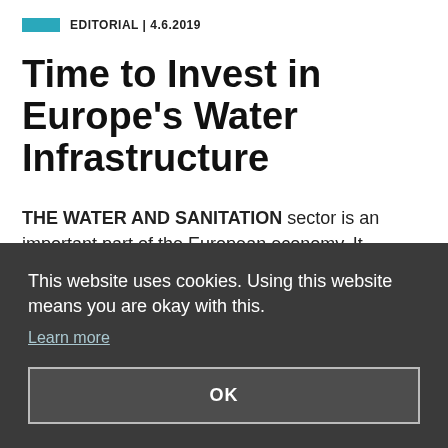EDITORIAL | 4.6.2019
Time to Invest in Europe's Water Infrastructure
THE WATER AND SANITATION sector is an important part of the European economy. It represents more than 500,000 people directly employed in water and sewerage
This website uses cookies. Using this website means you are okay with this. Learn more
OK